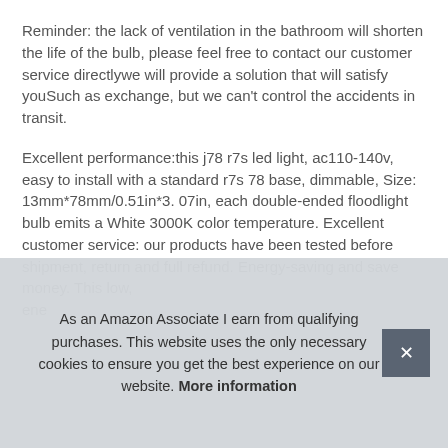Reminder: the lack of ventilation in the bathroom will shorten the life of the bulb, please feel free to contact our customer service directlywe will provide a solution that will satisfy youSuch as exchange, but we can't control the accidents in transit.
Excellent performance:this j78 r7s led light, ac110-140v, easy to install with a standard r7s 78 base, dimmable, Size: 13mm*78mm/0.51in*3. 07in, each double-ended floodlight bulb emits a White 3000K color temperature. Excellent customer service: our products have been tested before shipment, return and full refund. Energy-saving and save money. This low, ene
As an Amazon Associate I earn from qualifying purchases. This website uses the only necessary cookies to ensure you get the best experience on our website. More information